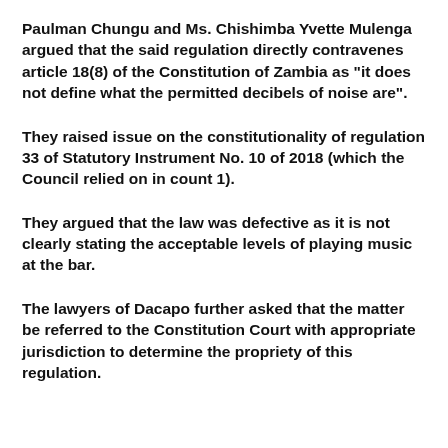Paulman Chungu and Ms. Chishimba Yvette Mulenga argued that the said regulation directly contravenes article 18(8) of the Constitution of Zambia as "it does not define what the permitted decibels of noise are".
They raised issue on the constitutionality of regulation 33 of Statutory Instrument No. 10 of 2018 (which the Council relied on in count 1).
They argued that the law was defective as it is not clearly stating the acceptable levels of playing music at the bar.
The lawyers of Dacapo further asked that the matter be referred to the Constitution Court with appropriate jurisdiction to determine the propriety of this regulation.